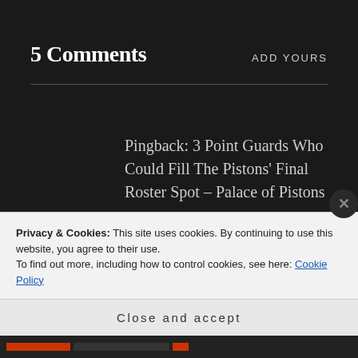5 Comments
ADD YOURS
Pingback: 3 Point Guards Who Could Fill The Pistons’ Final Roster Spot – Palace of Pistons
Pingback: VIDEO: The Truth About Svi
Privacy & Cookies: This site uses cookies. By continuing to use this website, you agree to their use.
To find out more, including how to control cookies, see here: Cookie Policy
Close and accept